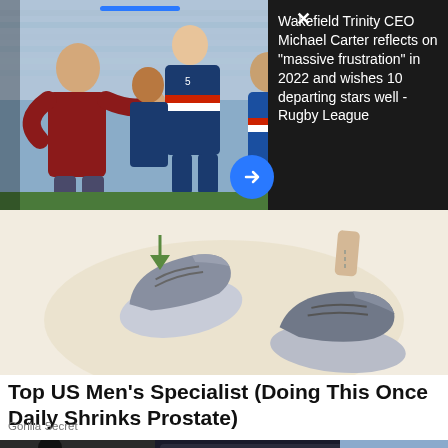[Figure (photo): Rugby players celebrating on field, one in maroon shirt fist-bumping player in blue Wakefield Trinity kit, crowd in background]
Wakefield Trinity CEO Michael Carter reflects on "massive frustration" in 2022 and wishes 10 departing stars well - Rugby League
[Figure (illustration): Illustrated advertisement showing two feet/shoes with arrows, on a beige background]
Top US Men's Specialist (Doing This Once Daily Shrinks Prostate)
Gorilla Secret
[Figure (screenshot): Bottom advertisement showing a person in black clothing with a game overlay showing '+20', '-33', two figures icon, and 'Hold and Move' text, plus an outdoor forest photo and ad close buttons]